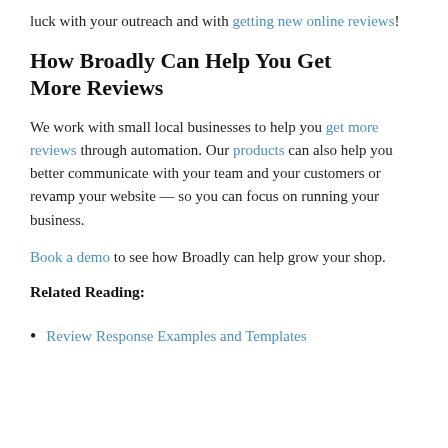luck with your outreach and with getting new online reviews!
How Broadly Can Help You Get More Reviews
We work with small local businesses to help you get more reviews through automation. Our products can also help you better communicate with your team and your customers or revamp your website — so you can focus on running your business.
Book a demo to see how Broadly can help grow your shop.
Related Reading:
Review Response Examples and Templates